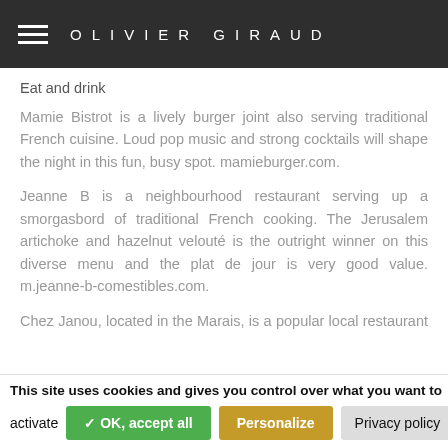OLIVIER GIRAUD
Eat and drink
Mamie Bistrot is a lively burger joint also serving traditional French cuisine. Loud pop music and strong cocktails will shape the night in this fun, busy spot. mamieburger.com.
Jeanne B is a neighbourhood restaurant serving up a smorgasbord of traditional French cooking. The Jerusalem artichoke and hazelnut velouté is the outright winner on this diverse menu and the plat de jour is very good value. m.jeanne-b-comestibles.com.
Chez Janou, located in the Marais, is a popular local restaurant serving Provencal cooking. The scallop risotto is
This site uses cookies and gives you control over what you want to activate
✓ OK, accept all
Personalize
Privacy policy